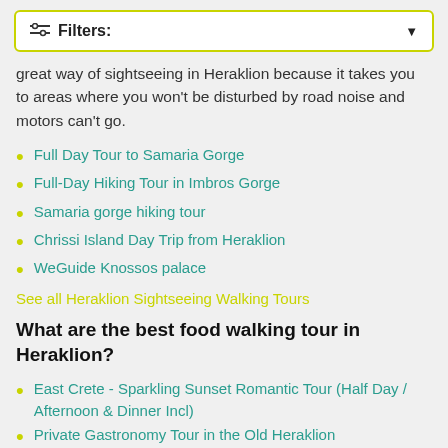Filters:
great way of sightseeing in Heraklion because it takes you to areas where you won't be disturbed by road noise and motors can't go.
Full Day Tour to Samaria Gorge
Full-Day Hiking Tour in Imbros Gorge
Samaria gorge hiking tour
Chrissi Island Day Trip from Heraklion
WeGuide Knossos palace
See all Heraklion Sightseeing Walking Tours
What are the best food walking tour in Heraklion?
East Crete - Sparkling Sunset Romantic Tour (Half Day / Afternoon & Dinner Incl)
Private Gastronomy Tour in the Old Heraklion